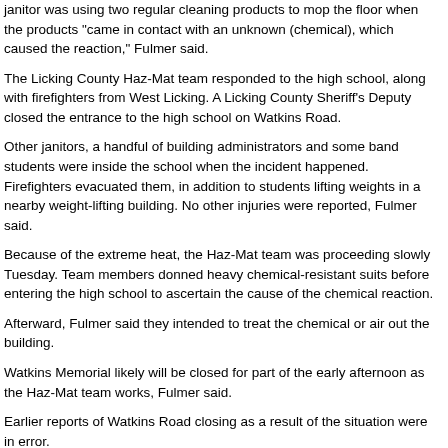janitor was using two regular cleaning products to mop the floor when the products "came in contact with an unknown (chemical), which caused the reaction," Fulmer said.
The Licking County Haz-Mat team responded to the high school, along with firefighters from West Licking. A Licking County Sheriff's Deputy closed the entrance to the high school on Watkins Road.
Other janitors, a handful of building administrators and some band students were inside the school when the incident happened. Firefighters evacuated them, in addition to students lifting weights in a nearby weight-lifting building. No other injuries were reported, Fulmer said.
Because of the extreme heat, the Haz-Mat team was proceeding slowly Tuesday. Team members donned heavy chemical-resistant suits before entering the high school to ascertain the cause of the chemical reaction.
Afterward, Fulmer said they intended to treat the chemical or air out the building.
Watkins Memorial likely will be closed for part of the early afternoon as the Haz-Mat team works, Fulmer said.
Earlier reports of Watkins Road closing as a result of the situation were in error.
----------------------
POLICE INVESTIGATE HAZMAT SITUATION AT NORTH PRECINCT, http://www.newschannel5.com/Global/story.asp?S=12762519
NASHVILLE, Tenn. - Metro police investigated a potential hazmat situation at the North Police Precinct on Tuesday afternoon.